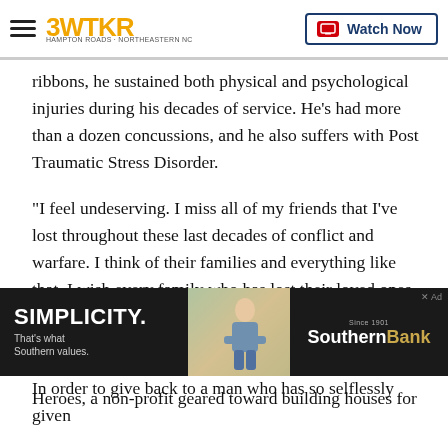3WTKR | Watch Now
ribbons, he sustained both physical and psychological injuries during his decades of service. He's had more than a dozen concussions, and he also suffers with Post Traumatic Stress Disorder.
“I feel undeserving. I miss all of my friends that I’ve lost throughout these last decades of conflict and warfare. I think of their families and everything like that. I wish every family who has lost their loved ones could experience something like this," says Lieutenant Ferguson.
In order to give back to a man who has so selflessly given
[Figure (screenshot): Advertisement banner: SIMPLICITY. That's what Southern values. Southern Bank ad with photo of woman seated outdoors.]
Heroes, a non-profit geared toward building houses for